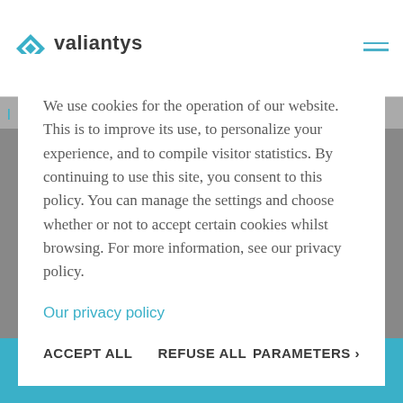valiantys | IP SERVICES
| | By submitting this form, you agree to let Valiantys use the
We use cookies for the operation of our website. This is to improve its use, to personalize your experience, and to compile visitor statistics. By continuing to use this site, you consent to this policy. You can manage the settings and choose whether or not to accept certain cookies whilst browsing. For more information, see our privacy policy.
Our privacy policy
ACCEPT ALL   REFUSE ALL   PARAMETERS
In accordance with our privacy policy, we are committed to respecting your personal data.